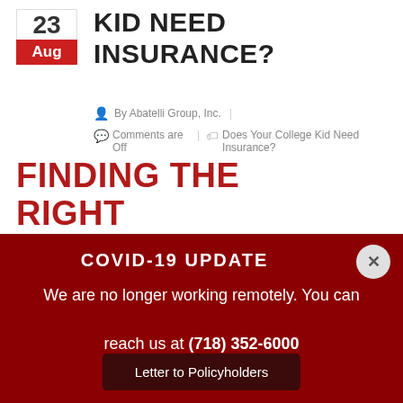KID NEED INSURANCE?
By Abatelli Group, Inc.   |   Comments are Off   |   Does Your College Kid Need Insurance?
FINDING THE RIGHT INSURANCE FOR YOUR STUDYING
COVID-19 UPDATE
We are no longer working remotely. You can reach us at (718) 352-6000
Letter to Policyholders